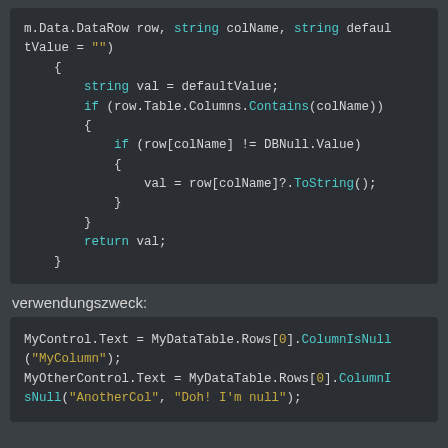[Figure (screenshot): Code block showing a C# method body with syntax highlighting. Contains: 'm.Data.DataRow row, string colName, string defaultValue = "")', a string variable assignment, an if statement checking row.Table.Columns.Contains(colName), nested if checking row[colName] != DBNull.Value, assignment val = row[colName]?.ToString(), and return val.]
verwendungszweck:
[Figure (screenshot): Code block showing C# usage example: MyControl.Text = MyDataTable.Rows[0].ColumnIsNull("MyColumn"); MyOtherControl.Text = MyDataTable.Rows[0].ColumnIsNull("AnotherCol", "Doh! I'm null");]